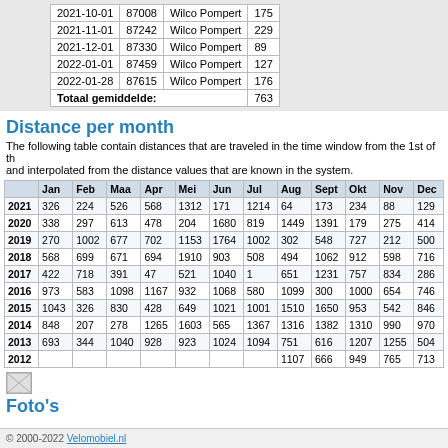| Date | Odometer | Rider | Distance |
| --- | --- | --- | --- |
| 2021-10-01 | 87008 | Wilco Pompert | 175 |
| 2021-11-01 | 87242 | Wilco Pompert | 229 |
| 2021-12-01 | 87330 | Wilco Pompert | 89 |
| 2022-01-01 | 87459 | Wilco Pompert | 127 |
| 2022-01-28 | 87615 | Wilco Pompert | 176 |
| Totaal gemiddelde: |  |  | 763 |
Distance per month
The following table contain distances that are traveled in the time window from the 1st of the month and interpolated from the distance values that are known in the system.
|  | Jan | Feb | Maa | Apr | Mei | Jun | Jul | Aug | Sept | Okt | Nov | Dec |
| --- | --- | --- | --- | --- | --- | --- | --- | --- | --- | --- | --- | --- |
| 2021 | 326 | 224 | 526 | 568 | 1312 | 171 | 1214 | 64 | 173 | 234 | 88 | 129 |
| 2020 | 338 | 297 | 613 | 478 | 204 | 1680 | 819 | 1449 | 1391 | 179 | 275 | 414 |
| 2019 | 270 | 1002 | 677 | 702 | 1153 | 1764 | 1002 | 302 | 548 | 727 | 212 | 500 |
| 2018 | 568 | 699 | 671 | 694 | 1910 | 903 | 508 | 494 | 1062 | 912 | 598 | 716 |
| 2017 | 422 | 718 | 391 | 47 | 521 | 1040 | 1 | 651 | 1231 | 757 | 834 | 286 |
| 2016 | 973 | 583 | 1098 | 1167 | 932 | 1068 | 580 | 1099 | 300 | 1000 | 654 | 746 |
| 2015 | 1043 | 326 | 830 | 428 | 649 | 1021 | 1001 | 1510 | 1650 | 953 | 542 | 846 |
| 2014 | 848 | 207 | 278 | 1265 | 1603 | 565 | 1367 | 1316 | 1382 | 1310 | 990 | 970 |
| 2013 | 693 | 344 | 1040 | 928 | 923 | 1024 | 1094 | 751 | 616 | 1207 | 1255 | 504 |
| 2012 |  |  |  |  |  |  |  | 1107 | 666 | 949 | 765 | 713 |
[Figure (photo): Broken/placeholder image icon]
Foto's
© 2000-2022 Velomobiel.nl